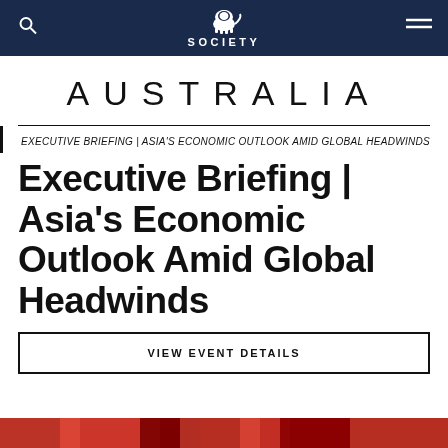ASIA SOCIETY
AUSTRALIA
EXECUTIVE BRIEFING | ASIA'S ECONOMIC OUTLOOK AMID GLOBAL HEADWINDS
Executive Briefing | Asia's Economic Outlook Amid Global Headwinds
VIEW EVENT DETAILS
[Figure (photo): Red and dark patterned image at the bottom of the page]